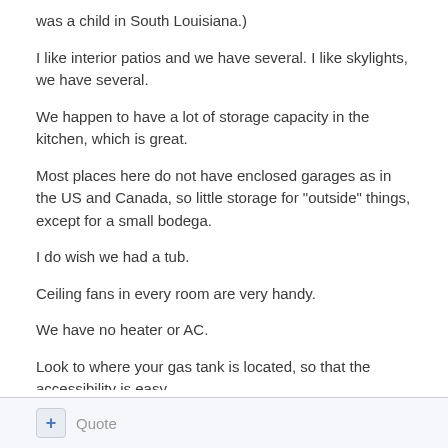was a child in South Louisiana.)
I like interior patios and we have several. I like skylights, we have several.
We happen to have a lot of storage capacity in the kitchen, which is great.
Most places here do not have enclosed garages as in the US and Canada, so little storage for "outside" things, except for a small bodega.
I do wish we had a tub.
Ceiling fans in every room are very handy.
We have no heater or AC.
Look to where your gas tank is located, so that the accessibility is easy.
+ Quote